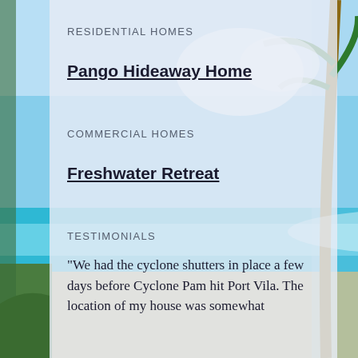RESIDENTIAL HOMES
Pango Hideaway Home
COMMERCIAL HOMES
Freshwater Retreat
TESTIMONIALS
"We had the cyclone shutters in place a few days before Cyclone Pam hit Port Vila. The location of my house was somewhat